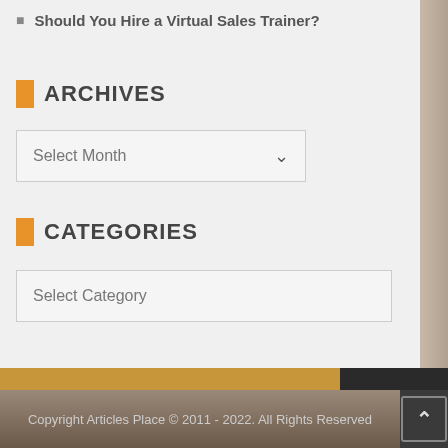Should You Hire a Virtual Sales Trainer?
ARCHIVES
Select Month
CATEGORIES
Select Category
Copyright Articles Place © 2011 - 2022. All Rights Reserved